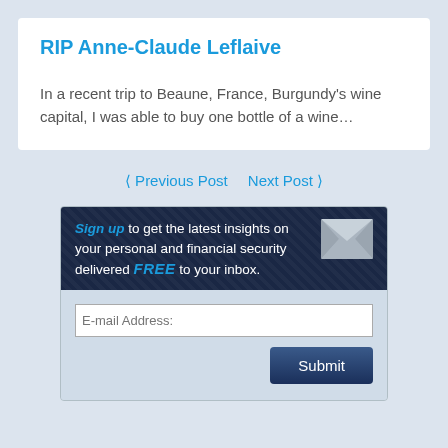RIP Anne-Claude Leflaive
In a recent trip to Beaune, France, Burgundy's wine capital, I was able to buy one bottle of a wine…
❮ Previous Post   Next Post ❯
[Figure (infographic): Newsletter signup banner with dark navy background and envelope icon. Text reads: Sign up to get the latest insights on your personal and financial security delivered FREE to your inbox. Below is a form with an E-mail Address input and a Submit button.]